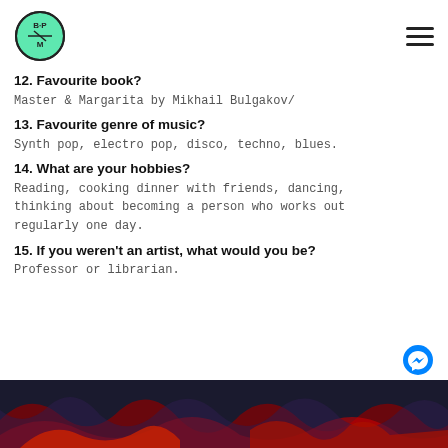BPM logo and navigation
12. Favourite book?
Master & Margarita by Mikhail Bulgakov/
13. Favourite genre of music?
Synth pop, electro pop, disco, techno, blues.
14. What are your hobbies?
Reading, cooking dinner with friends, dancing, thinking about becoming a person who works out regularly one day.
15. If you weren't an artist, what would you be?
Professor or librarian.
[Figure (photo): Abstract dark artwork with red and dark blue swirling patterns, partially visible at the bottom of the page]